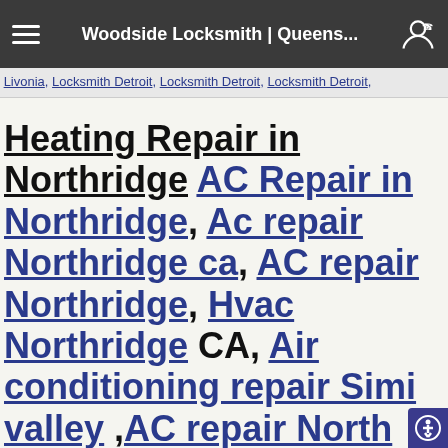Woodside Locksmith | Queens...
Livonia, Locksmith Detroit, Locksmith Detroit, Locksmith Detroit,
Heating Repair in Northridge AC Repair in Northridge, Ac repair Northridge ca, AC repair Northridge, Hvac Northridge CA, Air conditioning repair Simi valley ,AC repair North hills ,AC repair Simi Valley, AC Repair in Simi